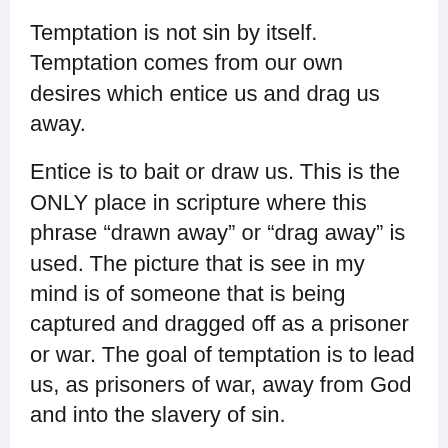Temptation is not sin by itself. Temptation comes from our own desires which entice us and drag us away.
Entice is to bait or draw us. This is the ONLY place in scripture where this phrase “drawn away” or “drag away” is used. The picture that is see in my mind is of someone that is being captured and dragged off as a prisoner or war. The goal of temptation is to lead us, as prisoners of war, away from God and into the slavery of sin.
NOTE: can you see God would never tempt us?
The desire may or may not be a sin. But for certain, the actions are sinful. The desire gives